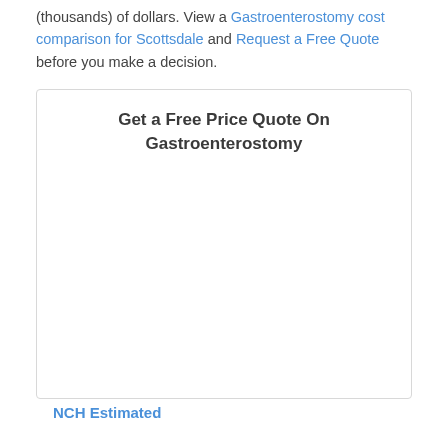(thousands) of dollars. View a Gastroenterostomy cost comparison for Scottsdale and Request a Free Quote before you make a decision.
[Figure (other): A card/form widget titled 'Get a Free Price Quote On Gastroenterostomy' with a large empty white content area, partially showing 'NCH Estimated' text at the bottom in blue.]